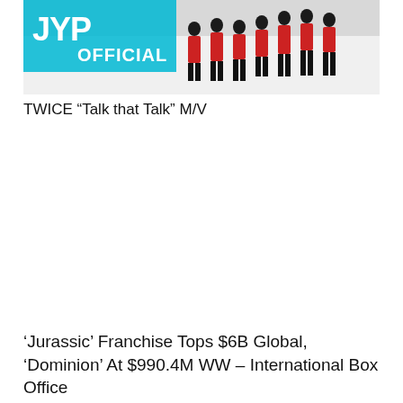[Figure (screenshot): JYP Official YouTube thumbnail showing group of people in red and black outfits on white background with JYP OFFICIAL logo in top left corner]
TWICE “Talk that Talk” M/V
‘Jurassic’ Franchise Tops $6B Global, ‘Dominion’ At $990.4M WW – International Box Office